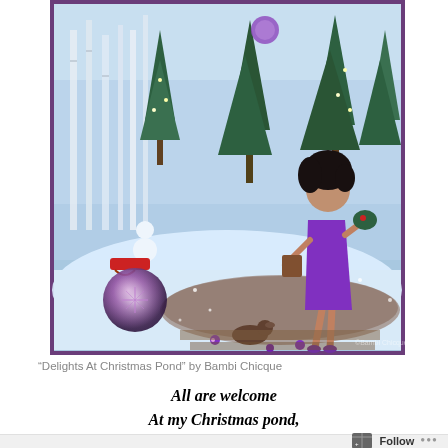[Figure (illustration): Digital illustration titled 'Delights At Christmas Pond' by Bambi Chicque. A winter scene with snow-covered ground, white birch trees, green pine/fir trees decorated with lights, a woman in a short purple dress and purple high heels with curly black hair walking and carrying items, a decorative glowing orb/ball on the left, a small dog, purple flowers/ornaments on the ground, and a snowman scene with a red sleigh in the background. The image has a purple border.]
“Delights At Christmas Pond” by Bambi Chicque
All are welcome
At my Christmas pond,
Enjoy yourself and